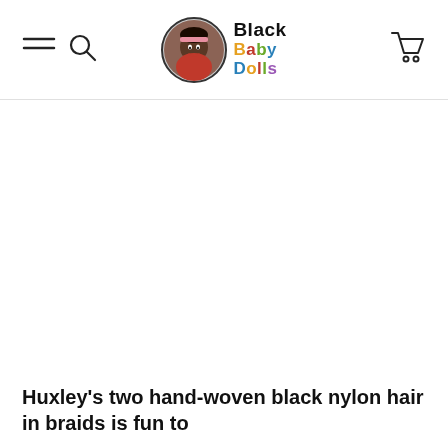Black Baby Dolls
Huxley's two hand-woven black nylon hair in braids is fun to